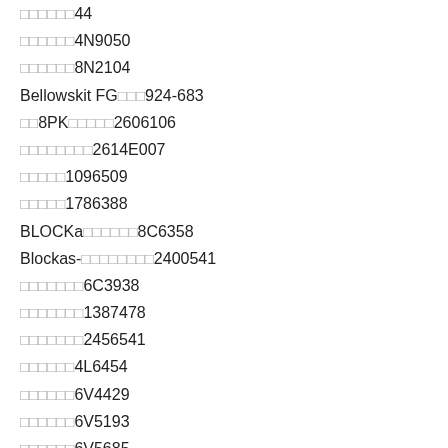□□□□□□□44
□□□□□□4N9050
□□□□□□8N2104
Bellowskit FG□□□924-683
□□8PK□□□□□2606106
□□□□□□□□2614E007
□□□□□1096509
□□□□□1786388
BLOCKa□□□□□□8C6358
Blockas-□□□□□□□□2400541
□□□□□□□6C3938
□□□□□□□1387478
□□□□□□□2456541
□□□□□□4L6454
□□□□□□6V4429
□□□□□□6V5193
□□□□□□6V5685
□□□□□□7X0279
□□□□□8S2331